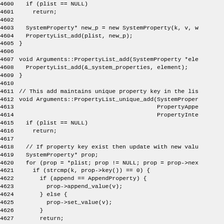Source code listing lines 4600-4629 showing C++ methods for PropertyList manipulation including PropertyList_add and PropertyList_unique_add functions